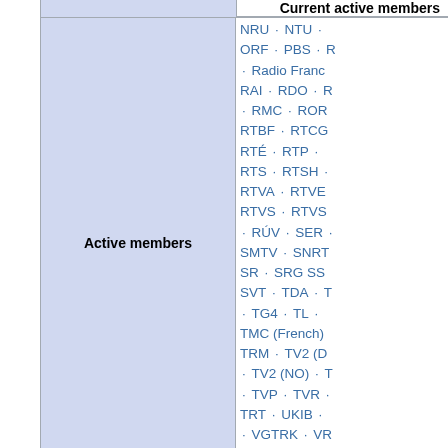|  | Current active members |  |
| --- | --- | --- |
| Active members | NRU · NTU · ORF · PBS · R · Radio Franc RAI · RDO · R · RMC · ROR RTBF · RTCG RTÉ · RTP · RTS · RTSH · RTVA · RTVE RTVS · RTVS · RÚV · SER · SMTV · SNRT SR · SRG SS SVT · TDA · T · TG4 · TL · TMC (French) TRM · TV2 (D · TV2 (NO) · T · TVP · TVR · TRT · UKIB · · VGTRK · VR VRT · Yle · ZD |  |
| Pending active membership | 1FLTV · 2M T KRTG · OR ... |  |